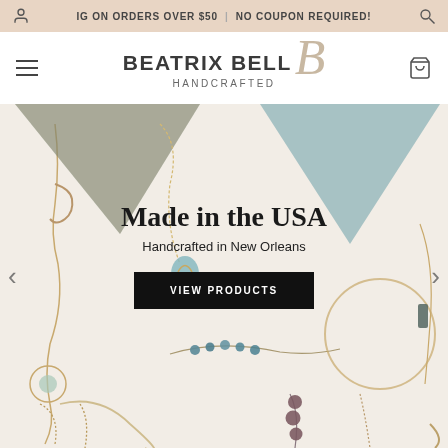IG ON ORDERS OVER $50 | NO COUPON REQUIRED!
BEATRIX BELL HANDCRAFTED
[Figure (photo): Hero banner showing assorted handcrafted jewelry pieces including earrings with chains, turquoise beads, and metal elements on a light background]
Made in the USA
Handcrafted in New Orleans
VIEW PRODUCTS